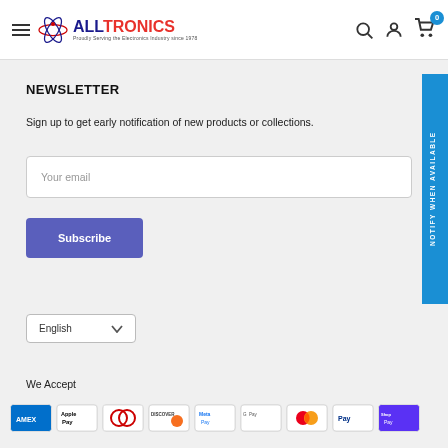ALLTRONICS — Proudly Serving the Electronics Industry since 1978
NEWSLETTER
Sign up to get early notification of new products or collections.
Your email
Subscribe
NOTIFY WHEN AVAILABLE
English
We Accept